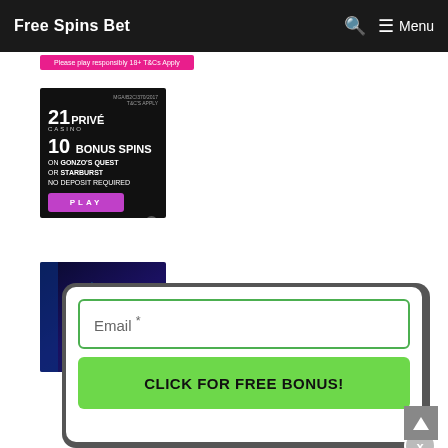Free Spins Bet  Menu
[Figure (screenshot): Pink button: Please play responsibly 18+ T&Cs Apply]
[Figure (screenshot): 21 Privé Casino ad: 10 Bonus Spins on Gonzo's Quest or Starburst No Deposit Required. PLAY button. MGA/B2C/370/2017 T&C's Apply.]
[Figure (screenshot): MR BIT casino ad banner, dark blue background with MrBit logo]
[Figure (screenshot): Email subscription popup with Email * input field and CLICK FOR FREE BONUS! button, close X button]